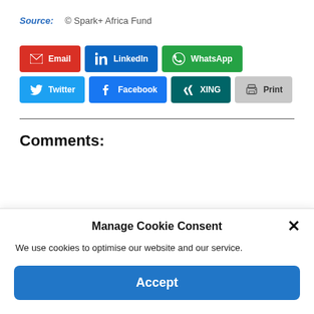Source: © Spark+ Africa Fund
[Figure (other): Social share buttons: Email, LinkedIn, WhatsApp, Twitter, Facebook, XING, Print]
Comments:
Manage Cookie Consent
We use cookies to optimise our website and our service.
Accept